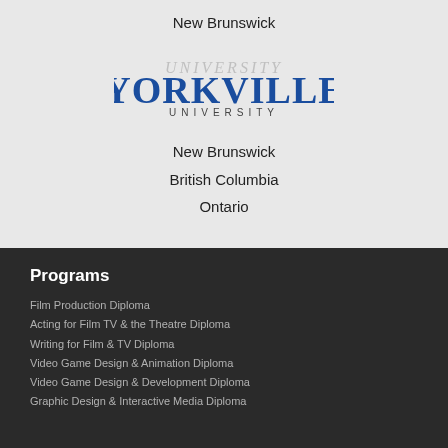New Brunswick
[Figure (logo): Yorkville University logo with text 'YORKVILLE UNIVERSITY' in blue and dark grey]
New Brunswick
British Columbia
Ontario
Programs
Film Production Diploma
Acting for Film TV & the Theatre Diploma
Writing for Film & TV Diploma
Video Game Design & Animation Diploma
Video Game Design & Development Diploma
Graphic Design & Interactive Media Diploma